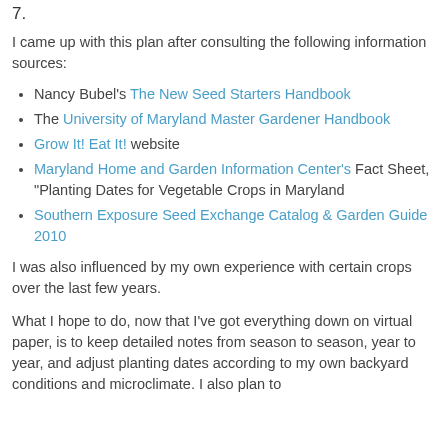7.
I came up with this plan after consulting the following information sources:
Nancy Bubel's The New Seed Starters Handbook
The University of Maryland Master Gardener Handbook
Grow It! Eat It! website
Maryland Home and Garden Information Center's Fact Sheet, "Planting Dates for Vegetable Crops in Maryland
Southern Exposure Seed Exchange Catalog & Garden Guide 2010
I was also influenced by my own experience with certain crops over the last few years.
What I hope to do, now that I've got everything down on virtual paper, is to keep detailed notes from season to season, year to year, and adjust planting dates according to my own backyard conditions and microclimate. I also plan to